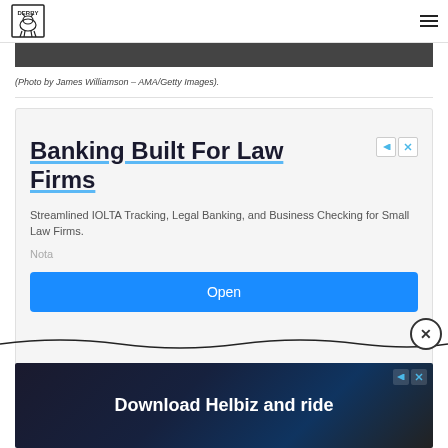[Figure (logo): Derby logo with cow icon and hamburger menu icon]
[Figure (photo): Dark photo strip at top, partially visible]
(Photo by James Williamson – AMA/Getty Images).
[Figure (infographic): Advertisement card: Banking Built For Law Firms. Streamlined IOLTA Tracking, Legal Banking, and Business Checking for Small Law Firms. Nota. Open button.]
[Figure (infographic): Bottom banner ad: Download Helbiz and ride]